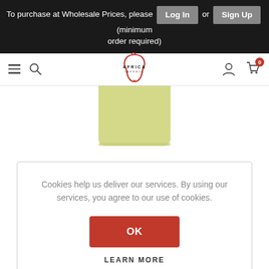To purchase at Wholesale Prices, please Log In or Sign Up (minimum order required)
[Figure (logo): Africa Imports logo with African continent outline in red]
[Figure (photo): Partial view of a light yellow/green product container]
Cookies help us deliver our services. By using our services, you agree to our use of cookies.
OK
LEARN MORE